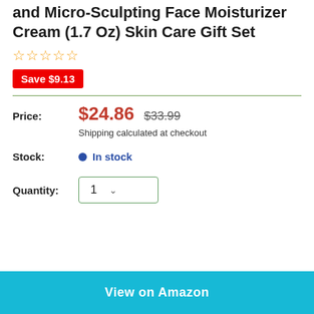and Micro-Sculpting Face Moisturizer Cream (1.7 Oz) Skin Care Gift Set
★★★★★ (stars)
Save $9.13
Price: $24.86  $33.99
Shipping calculated at checkout
Stock: • In stock
Quantity: 1 ▾
View on Amazon